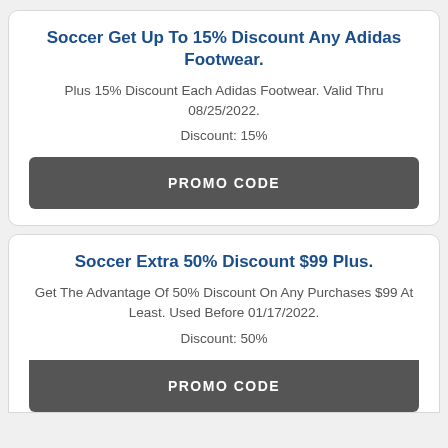Soccer Get Up To 15% Discount Any Adidas Footwear.
Plus 15% Discount Each Adidas Footwear. Valid Thru 08/25/2022.
Discount: 15%
PROMO CODE
Soccer Extra 50% Discount $99 Plus.
Get The Advantage Of 50% Discount On Any Purchases $99 At Least. Used Before 01/17/2022.
Discount: 50%
PROMO CODE